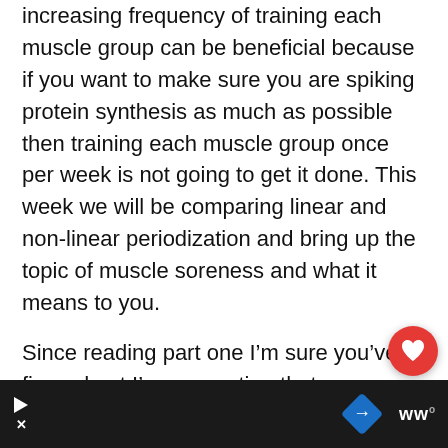increasing frequency of training each muscle group can be beneficial because if you want to make sure you are spiking protein synthesis as much as possible then training each muscle group once per week is not going to get it done. This week we will be comparing linear and non-linear periodization and bring up the topic of muscle soreness and what it means to you.
Since reading part one I’m sure you’ve figured out I’m suggesting that you should exercise each muscle group more than once per week. This will inevitably bring up the topic of muscle soreness overtraining. If someone is told to train more frequently they often think they should di... because wh... ...n be
[Figure (other): Mobile advertisement bar at bottom: dark background with play button, navigation diamond icon (blue), and WW logo on right. Also overlaid: red heart FAB button and share FAB button.]